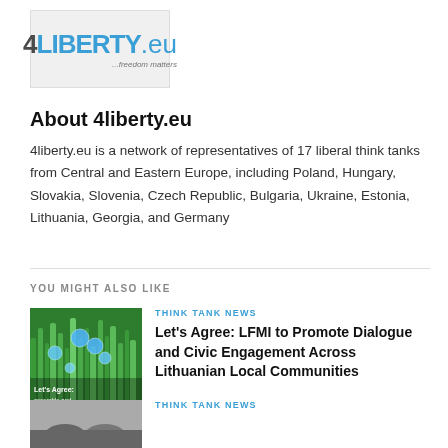[Figure (logo): 4LIBERTY.eu logo with tagline '...freedom matters' on a light grey background]
About 4liberty.eu
4liberty.eu is a network of representatives of 17 liberal think tanks from Central and Eastern Europe, including Poland, Hungary, Slovakia, Slovenia, Czech Republic, Bulgaria, Ukraine, Estonia, Lithuania, Georgia, and Germany
YOU MIGHT ALSO LIKE
[Figure (photo): Green plants with water droplets, Let's Agree promotional image]
THINK TANK NEWS
Let's Agree: LFMI to Promote Dialogue and Civic Engagement Across Lithuanian Local Communities
[Figure (photo): Black and white photo, partial view]
THINK TANK NEWS